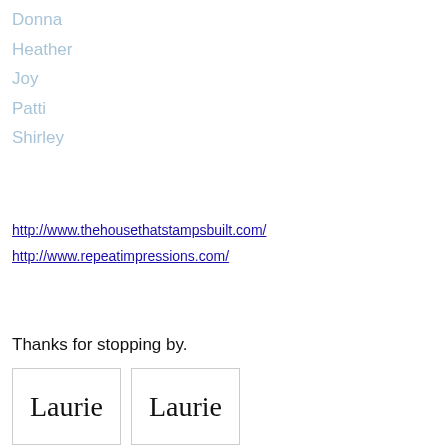Donna
Heather
Joy
Patti
Shirley
http://www.thehousethatstampsbuilt.com/
http://www.repeatimpressions.com/
Thanks for stopping by.
[Figure (illustration): Two handwritten cursive signature images of 'Laurie' side by side in boxes]